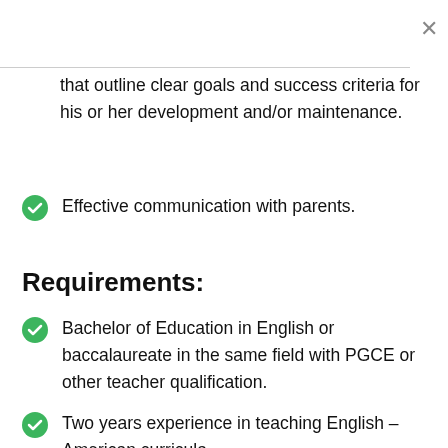that outline clear goals and success criteria for his or her development and/or maintenance.
Effective communication with parents.
Requirements:
Bachelor of Education in English or baccalaureate in the same field with PGCE or other teacher qualification.
Two years experience in teaching English – American curricula